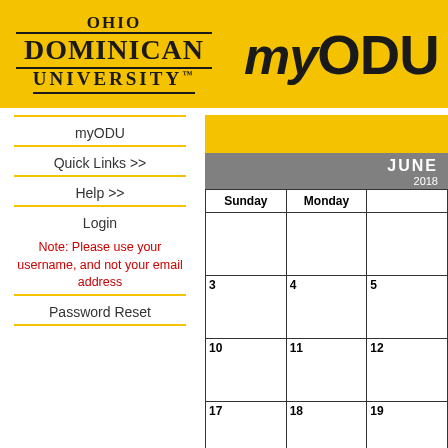[Figure (logo): Ohio Dominican University logo with myODU text on yellow/gold header background]
myODU
Quick Links >>
Help >>
Login
Note: Please use your username, and not your email address
Password Reset
[Figure (other): Yellow bar (partially visible)]
| Sunday | Monday |  |
| --- | --- | --- |
|  |  |  |
| 3 | 4 | 5 |
| 10 | 11 | 12 |
| 17 | 18 | 19 |